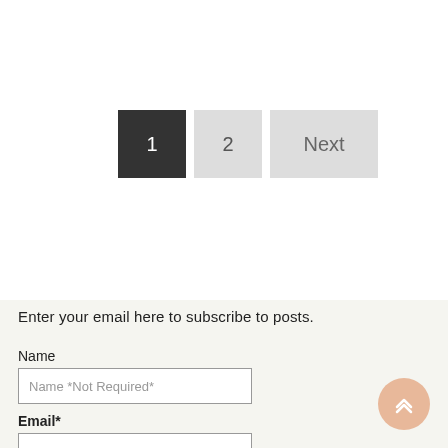[Figure (other): Pagination controls with three buttons: active page 1 (dark background), page 2, and Next button]
Enter your email here to subscribe to posts.
Name
Name *Not Required*
Email*